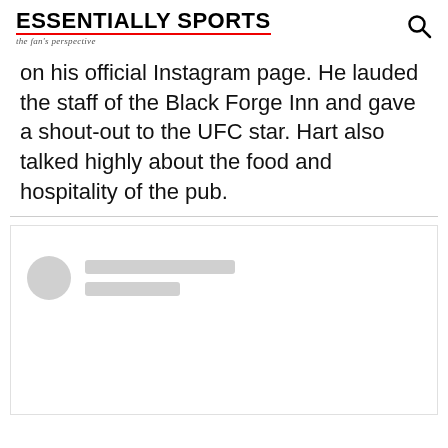ESSENTIALLY SPORTS — the fan's perspective
on his official Instagram page. He lauded the staff of the Black Forge Inn and gave a shout-out to the UFC star. Hart also talked highly about the food and hospitality of the pub.
[Figure (screenshot): Embedded social media post loading placeholder with blurred avatar circle and gray placeholder lines]